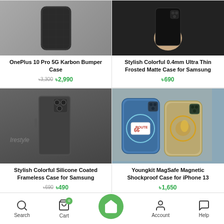[Figure (photo): OnePlus 10 Pro 5G Karbon Bumper Case - black carbon fiber phone case]
OnePlus 10 Pro 5G Karbon Bumper Case
৳3,300 ৳2,990
[Figure (photo): Stylish Colorful 0.4mm Ultra Thin Frosted Matte Case for Samsung - hand holding black case]
Stylish Colorful 0.4mm Ultra Thin Frosted Matte Case for Samsung
৳690
[Figure (photo): Stylish Colorful Silicone Coated Frameless Case for Samsung - dark grey angular case]
Stylish Colorful Silicone Coated Frameless Case for Samsung
৳690 ৳490
[Figure (photo): Youngkit MagSafe Magnetic Shockproof Case for iPhone 13 - two phone cases on grey surface]
Youngkit MagSafe Magnetic Shockproof Case for iPhone 13
৳1,650
Search  Cart  Home  Account  Help